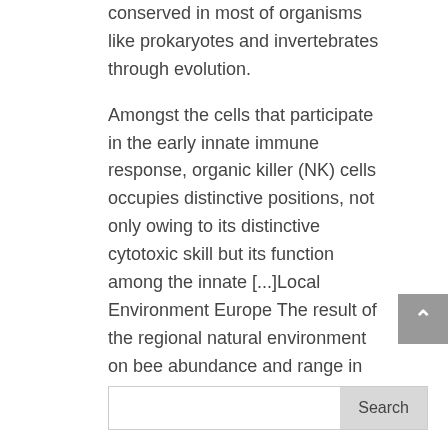conserved in most of organisms like prokaryotes and invertebrates through evolution.
Amongst the cells that participate in the early innate immune response, organic killer (NK) cells occupies distinctive positions, not only owing to its distinctive cytotoxic skill but its function among the innate [...]Local Environment Europe The result of the regional natural environment on bee abundance and range in areas throughout Europe.